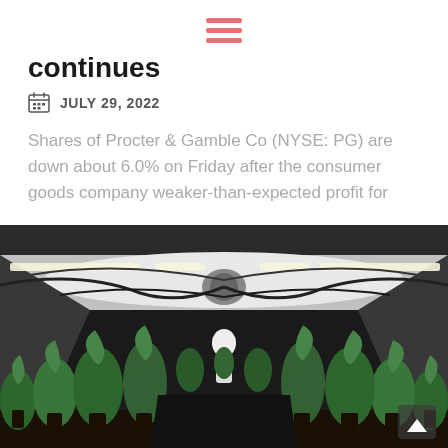☰ (hamburger menu)
continues
JULY 29, 2022
Shares of Procter & Gamble Co (NYSE: PG) are down about 6.0% on Friday after the consumer goods company weaker-than-expected profit for
[Figure (photo): Interior of an indoor cannabis grow room with rows of cannabis plants under white LED grow lights, black hoses running along the ceiling, reflective walls, and black grow bags on the floor. A worker in white is visible in the center background.]